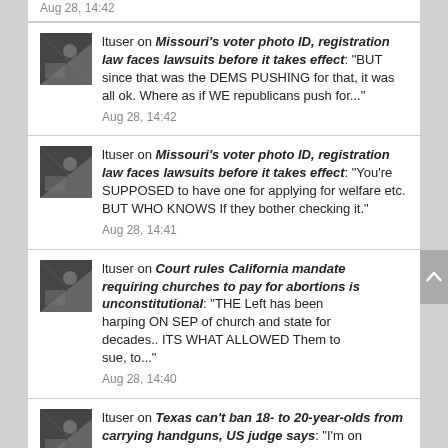Aug 28, 14:42
ltuser on Missouri's voter photo ID, registration law faces lawsuits before it takes effect: "BUT since that was the DEMS PUSHING for that, it was all ok. Where as if WE republicans push for..." Aug 28, 14:42
ltuser on Missouri's voter photo ID, registration law faces lawsuits before it takes effect: "You're SUPPOSED to have one for applying for welfare etc. BUT WHO KNOWS If they bother checking it." Aug 28, 14:41
ltuser on Court rules California mandate requiring churches to pay for abortions is unconstitutional: "THE Left has been harping ON SEP of church and state for decades.. ITS WHAT ALLOWED Them to sue, to..." Aug 28, 14:40
ltuser on Texas can't ban 18- to 20-year-olds from carrying handguns, US judge says: "I'm on eastern time (Columbus ohio).. So if you're say out west, or central, you're behind me time wise..."